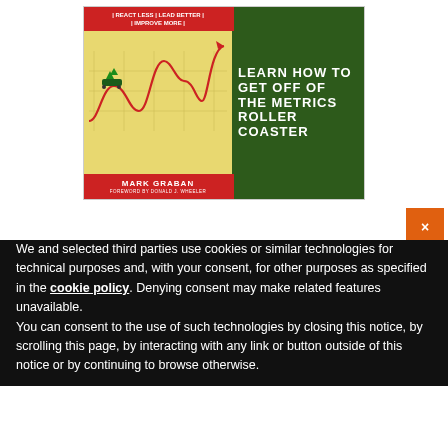[Figure (illustration): Book cover for 'Metrics Roller Coaster' by Mark Graban. Left half is a yellow/gold background with a red tagline band at top reading '| REACT LESS | LEAD BETTER | | IMPROVE MORE |', a roller coaster chart illustration in red with a green train, and a red author band at bottom reading 'MARK GRABAN FOREWORD BY DONALD J. WHEELER'. Right half is dark green with white bold text reading 'LEARN HOW TO GET OFF OF THE METRICS ROLLER COASTER'.]
Notice
We and selected third parties use cookies or similar technologies for technical purposes and, with your consent, for other purposes as specified in the cookie policy. Denying consent may make related features unavailable.
You can consent to the use of such technologies by closing this notice, by scrolling this page, by interacting with any link or button outside of this notice or by continuing to browse otherwise.